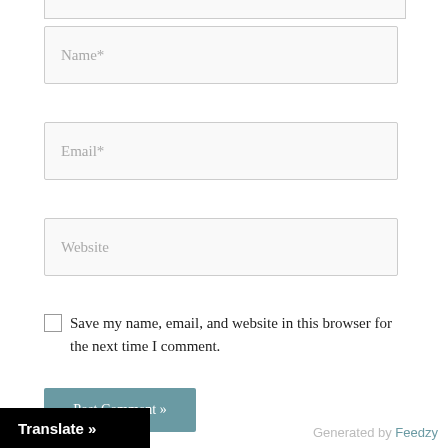[Figure (screenshot): Partial top edge of a text input field (comment box), partially cropped at top of page]
Name*
Email*
Website
Save my name, email, and website in this browser for the next time I comment.
Post Comment »
Translate »
Generated by Feedzy